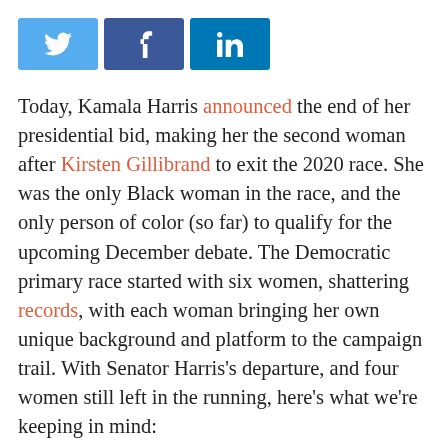[Figure (other): Social media share buttons: Twitter (blue bird icon), Facebook (dark blue f icon), LinkedIn (blue 'in' icon)]
Today, Kamala Harris announced the end of her presidential bid, making her the second woman after Kirsten Gillibrand to exit the 2020 race. She was the only Black woman in the race, and the only person of color (so far) to qualify for the upcoming December debate. The Democratic primary race started with six women, shattering records, with each woman bringing her own unique background and platform to the campaign trail. With Senator Harris's departure, and four women still left in the running, here's what we're keeping in mind: